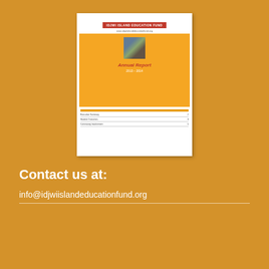[Figure (illustration): Thumbnail preview of the Idjwi Island Education Fund Annual Report document, showing orange cover with a photo of students, 'Annual Report' title in red italic text, and a partial table of contents visible below.]
Contact us at:
info@idjwiislandeducationfund.org